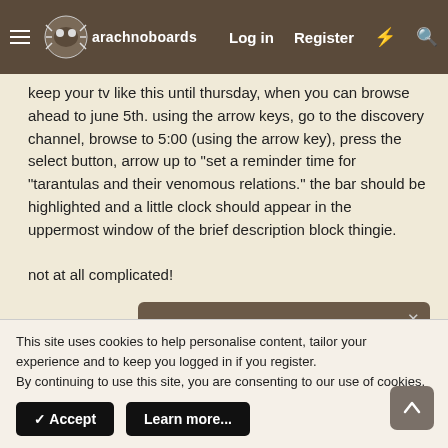arachnoboards — Log in  Register
keep your tv like this until thursday, when you can browse ahead to june 5th. using the arrow keys, go to the discovery channel, browse to 5:00 (using the arrow key), press the select button, arrow up to "set a reminder time for "tarantulas and their venomous relations." the bar should be highlighted and a little clock should appear in the uppermost window of the brief description block thingie.

not at all complicated!
May 27, 2003
[Figure (photo): User avatar thumbnail showing a tarantula or spider]
nemesis6sic6
Hello there, why not take a few seconds to register on our forums and become part of the community? Just click here.
This site uses cookies to help personalise content, tailor your experience and to keep you logged in if you register.
By continuing to use this site, you are consenting to our use of cookies.
✓ Accept
Learn more...